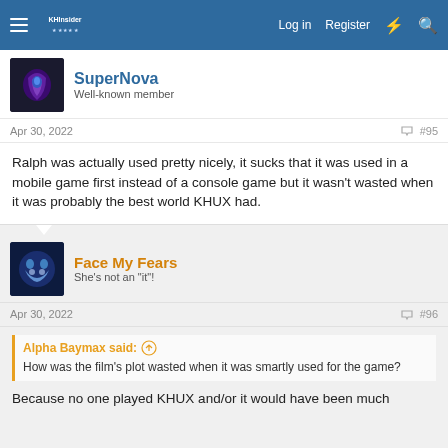KHInsider forum navigation — Log in | Register
SuperNova
Well-known member
Apr 30, 2022  #95
Ralph was actually used pretty nicely, it sucks that it was used in a mobile game first instead of a console game but it wasn't wasted when it was probably the best world KHUX had.
Face My Fears
She's not an "it"!
Apr 30, 2022  #96
Alpha Baymax said:
How was the film's plot wasted when it was smartly used for the game?
Because no one played KHUX and/or it would have been much